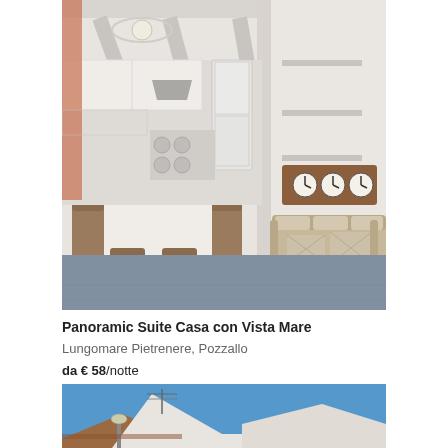[Figure (photo): Interior of a vacation rental apartment showing an open-plan living and dining area with white ceiling beams, brown chairs around a white dining table, kitchen in background, a beige sofa with patterned cushions, and a wall clock display. Blue-grey polished concrete floor.]
Panoramic Suite Casa con Vista Mare
Lungomare Pietrenere, Pozzallo
da € 58/notte
[Figure (photo): Exterior photo of a building rooftop against a bright blue sky, showing terracotta roof tiles, a white dormer or triangular architectural element, an antenna, and a street lamp.]